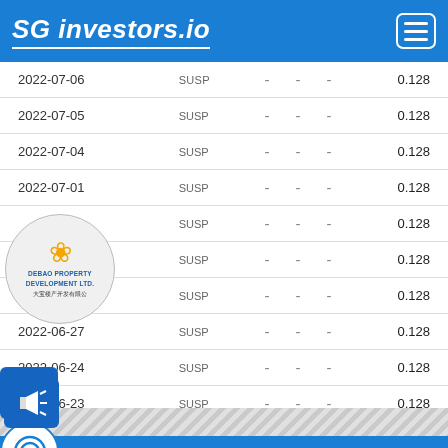SG investors.io
| Date | Status | - | - | - | Price |
| --- | --- | --- | --- | --- | --- |
| 2022-07-06 | SUSP | - | - | - | 0.128 |
| 2022-07-05 | SUSP | - | - | - | 0.128 |
| 2022-07-04 | SUSP | - | - | - | 0.128 |
| 2022-07-01 | SUSP | - | - | - | 0.128 |
| 2022-06-30 | SUSP | - | - | - | 0.128 |
| 2022-06-29 | SUSP | - | - | - | 0.128 |
| 2022-06-28 | SUSP | - | - | - | 0.128 |
| 2022-06-27 | SUSP | - | - | - | 0.128 |
| 2022-06-24 | SUSP | - | - | - | 0.128 |
| 2022-06-23 | SUSP | - | - | - | 0.128 |
| 2022-06-22 | SUSP | - | - | - | 0.128 |